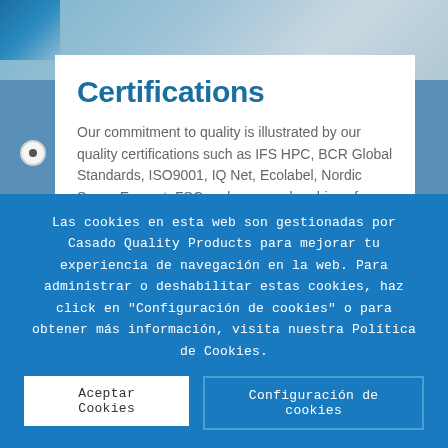Certifications
Our commitment to quality is illustrated by our quality certifications such as IFS HPC, BCR Global Standards, ISO9001, IQ Net, Ecolabel, Nordic Swan, Ecocert, FSC and our memberships of A.I.S.E. and Sedex.
COMPANY · HISTORY · R+D · CERTIFICATIONS · LOGISTICS · WORK WITH US
Las cookies en esta web son gestionadas por Casado Quality Products para mejorar tu experiencia de navegación en la web. Para administrar o deshabilitar estas cookies, haz click en "Configuración de cookies" o para obtener más información, visita nuestra Política de Cookies.
Aceptar Cookies
Configuración de cookies